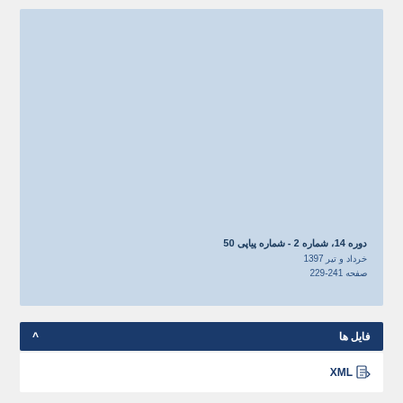[Figure (other): Light blue rectangular background card area]
دوره 14، شماره 2 - شماره پیاپی 50
خرداد و تیر 1397
صفحه 229-241
فایل ها
XML